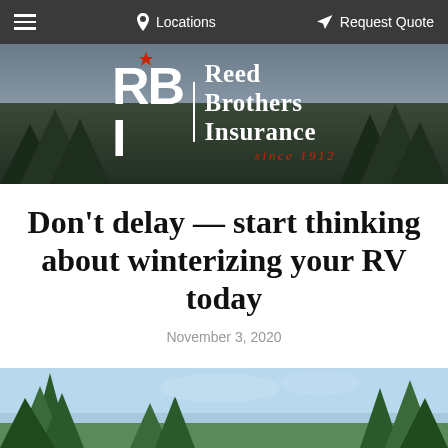≡  Locations  Request Quote
[Figure (logo): Reed Brothers Insurance logo with RBI initials, vertical divider, company name and 'since 1912' tagline on a forest/outdoor background]
Don't delay — start thinking about winterizing your RV today
November 3, 2020
[Figure (photo): Outdoor photo showing tall pine trees against a blue sky, bottom portion visible]